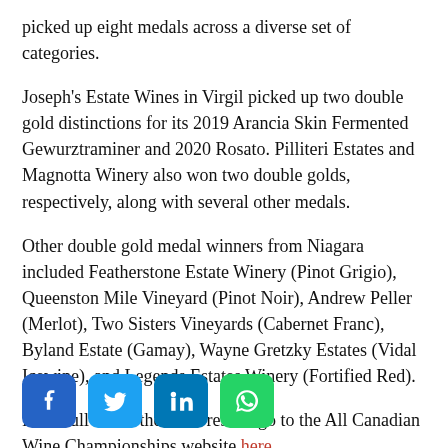picked up eight medals across a diverse set of categories.
Joseph's Estate Wines in Virgil picked up two double gold distinctions for its 2019 Arancia Skin Fermented Gewurztraminer and 2020 Rosato. Pilliteri Estates and Magnotta Winery also won two double golds, respectively, along with several other medals.
Other double gold medal winners from Niagara included Featherstone Estate Winery (Pinot Grigio), Queenston Mile Vineyard (Pinot Noir), Andrew Peller (Merlot), Two Sisters Vineyards (Cabernet Franc), Byland Estate (Gamay), Wayne Gretzky Estates (Vidal Icewine), and Legends Estates Winery (Fortified Red).
For a full list of the 2022 results go to the All Canadian Wine Championships website here.
[Figure (other): Social media share buttons: Facebook, Twitter, LinkedIn, WhatsApp]